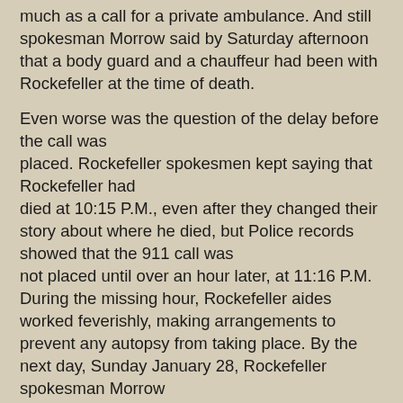much as a call for a private ambulance. And still spokesman Morrow said by Saturday afternoon that a body guard and a chauffeur had been with Rockefeller at the time of death.

Even worse was the question of the delay before the call was placed. Rockefeller spokesmen kept saying that Rockefeller had died at 10:15 P.M., even after they changed their story about where he died, but Police records showed that the 911 call was not placed until over an hour later, at 11:16 P.M. During the missing hour, Rockefeller aides worked feverishly, making arrangements to prevent any autopsy from taking place. By the next day, Sunday January 28, Rockefeller spokesman Morrow delivered his third version of the story to the press. According to the New York Times for the following day, he said, "that the death actually had occurred at about 11:15 P.M., and that